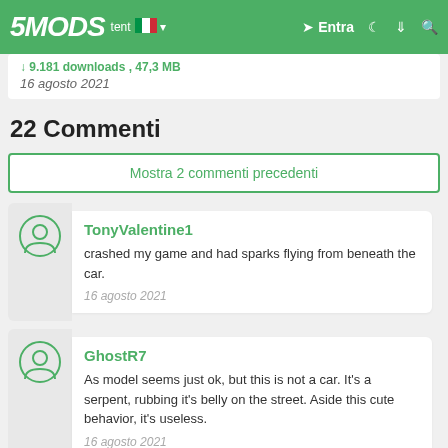5MODS — Entra
9.181 downloads , 47,3 MB
16 agosto 2021
22 Commenti
Mostra 2 commenti precedenti
TonyValentine1
crashed my game and had sparks flying from beneath the car.
16 agosto 2021
GhostR7
As model seems just ok, but this is not a car. It's a serpent, rubbing it's belly on the street. Aside this cute behavior, it's useless.
16 agosto 2021